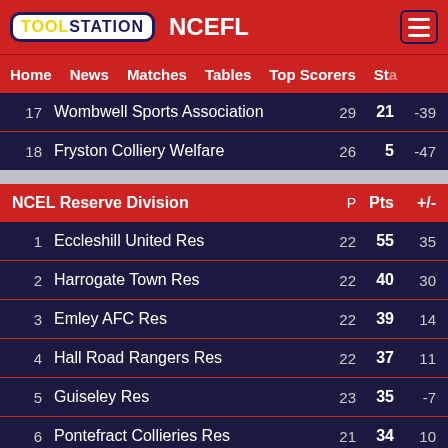TOOLSTATION NCEFL
Home  News  Matches  Tables  Top Scorers  Sta
|  | Team | P | Pts | +/- |
| --- | --- | --- | --- | --- |
| 17 | Wombwell Sports Association | 29 | 21 | -39 |
| 18 | Fryston Colliery Welfare | 26 | 5 | -47 |
NCEL Reserve Division
|  | Team | P | Pts | +/- |
| --- | --- | --- | --- | --- |
| 1 | Eccleshill United Res | 22 | 55 | 35 |
| 2 | Harrogate Town Res | 22 | 40 | 30 |
| 3 | Emley AFC Res | 22 | 39 | 14 |
| 4 | Hall Road Rangers Res | 22 | 37 | 11 |
| 5 | Guiseley Res | 23 | 35 | -7 |
| 6 | Pontefract Collieries Res | 21 | 34 | 10 |
| 7 | Thackley Res | 20 | 34 | 9 |